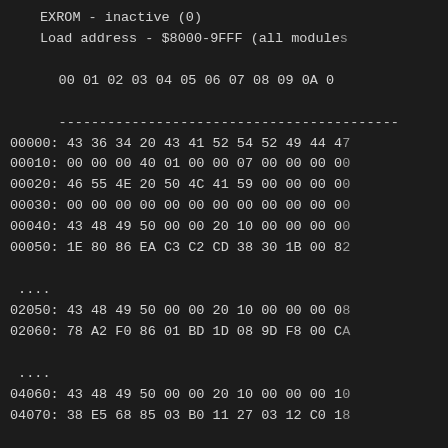EXROM - inactive (0)
Load address - $8000-9FFF (all modules)
00 01 02 03 04 05 06 07 08 09 0A 0B
------------------------------------------
00000: 43 36 34 20 43 41 52 54 52 49 44 47
00010: 00 00 00 40 01 00 00 07 00 00 00 00
00020: 46 55 4E 20 50 4C 41 59 00 00 00 00
00030: 00 00 00 00 00 00 00 00 00 00 00 00
00040: 43 48 49 50 00 00 20 10 00 00 00 00
00050: 1E 80 86 EA C3 C2 CD 38 30 1B 00 82
....
02050: 43 48 49 50 00 00 20 10 00 00 00 08
02060: 78 A2 F0 86 01 BD 1D 08 9D F8 00 CA
....
04060: 43 48 49 50 00 00 20 10 00 00 00 10
04070: 38 E5 68 85 03 B0 11 27 03 12 C0 18
....
06070: 43 48 49 50 00 00 20 10 00 00 00 18
06080: 44 D0 5E 06 02 C0 44 11 40 04 11 44